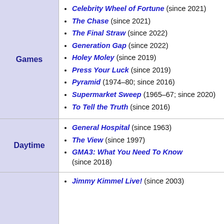| Category | Shows |
| --- | --- |
| Games | Celebrity Wheel of Fortune (since 2021); The Chase (since 2021); The Final Straw (since 2022); Generation Gap (since 2022); Holey Moley (since 2019); Press Your Luck (since 2019); Pyramid (1974–80; since 2016); Supermarket Sweep (1965–67; since 2020); To Tell the Truth (since 2016) |
| Daytime | General Hospital (since 1963); The View (since 1997); GMA3: What You Need To Know (since 2018) |
|  | Jimmy Kimmel Live! (since 2003) |